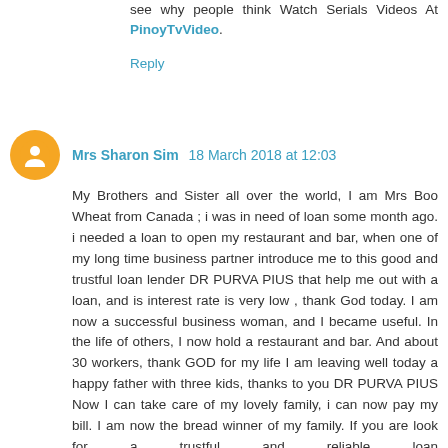see why people think Watch Serials Videos At PinoyTvVideo.
Reply
Mrs Sharon Sim 18 March 2018 at 12:03
My Brothers and Sister all over the world, I am Mrs Boo Wheat from Canada ; i was in need of loan some month ago. i needed a loan to open my restaurant and bar, when one of my long time business partner introduce me to this good and trustful loan lender DR PURVA PIUS that help me out with a loan, and is interest rate is very low , thank God today. I am now a successful business woman, and I became useful. In the life of others, I now hold a restaurant and bar. And about 30 workers, thank GOD for my life I am leaving well today a happy father with three kids, thanks to you DR PURVA PIUS Now I can take care of my lovely family, i can now pay my bill. I am now the bread winner of my family. If you are look for a trustful and reliable loan leader. You can Email him via,mail (urgentloan22@gmail.com) Please tell him Mrs Boo Wheat from Canada introduce you to him THANKS